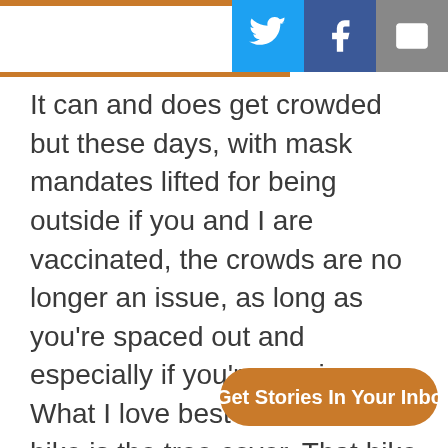[Figure (screenshot): Social media share icons: Twitter (blue), Facebook (dark blue), Mail (grey)]
It can and does get crowded but these days, with mask mandates lifted for being outside if you and I are vaccinated, the crowds are no longer an issue, as long as you're spaced out and especially if you're moving. What I love best about this hike is the tree cover. That hike is what ultimately charmed me so much about moving to Oregon where such beauty is in abundance and well with town.
[Figure (infographic): Orange pill-shaped CTA button with person/inbox icon and text: Get Stories In Your Inbox]